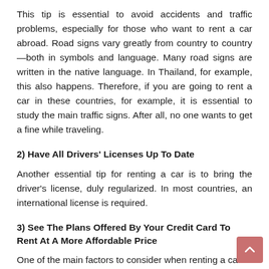This tip is essential to avoid accidents and traffic problems, especially for those who want to rent a car abroad. Road signs vary greatly from country to country—both in symbols and language. Many road signs are written in the native language. In Thailand, for example, this also happens. Therefore, if you are going to rent a car in these countries, for example, it is essential to study the main traffic signs. After all, no one wants to get a fine while traveling.
2) Have All Drivers' Licenses Up To Date
Another essential tip for renting a car is to bring the driver's license, duly regularized. In most countries, an international license is required.
3) See The Plans Offered By Your Credit Card To Rent At A More Affordable Price
One of the main factors to consider when renting a car